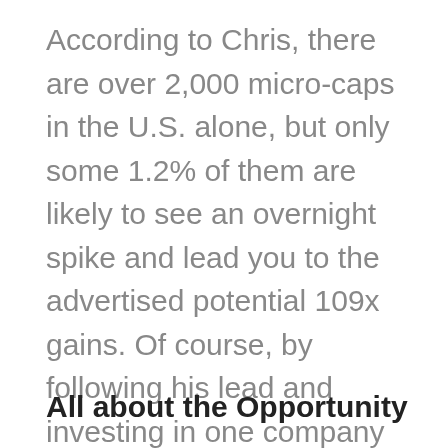According to Chris, there are over 2,000 micro-caps in the U.S. alone, but only some 1.2% of them are likely to see an overnight spike and lead you to the advertised potential 109x gains. Of course, by following his lead and investing in one company he teases, he claims you can get impressive returns and secure a decent retirement fund to last you for years.
All about the Opportunity